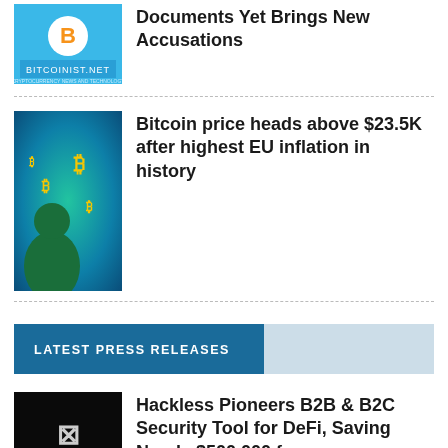[Figure (photo): Bitcoinist.net logo — blue background with Bitcoin B icon]
Documents Yet Brings New Accusations
[Figure (photo): Person looking at floating Bitcoin symbols on a colorful digital background]
Bitcoin price heads above $23.5K after highest EU inflation in history
LATEST PRESS RELEASES
[Figure (photo): Hackless logo on dark background — security tool branding]
Hackless Pioneers B2B & B2C Security Tool for DeFi, Saving Nearly $500,000 fo...
[Figure (photo): Web3 Telecommunications Startup thumbnail — purple swirling background]
Web3 Telecommunications Startup